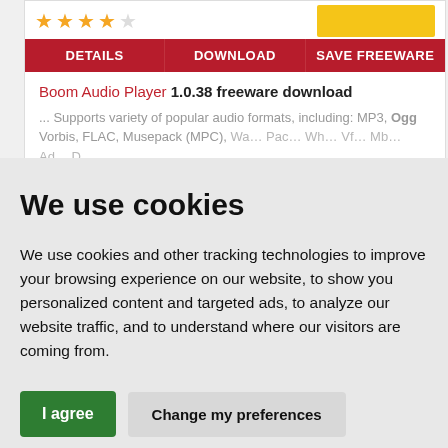[Figure (screenshot): Software listing card with star rating, navigation buttons (DETAILS, DOWNLOAD, SAVE FREEWARE), and description for Boom Audio Player 1.0.38 freeware download]
We use cookies
We use cookies and other tracking technologies to improve your browsing experience on our website, to show you personalized content and targeted ads, to analyze our website traffic, and to understand where our visitors are coming from.
I agree | Change my preferences